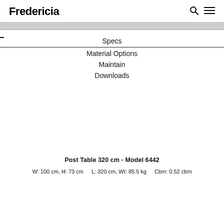Fredericia
Specs
Material Options
Maintain
Downloads
Post Table 320 cm - Model 6442
W: 100 cm, H: 73 cm    L: 320 cm, Wt: 85.5 kg    Cbm: 0.52 cbm